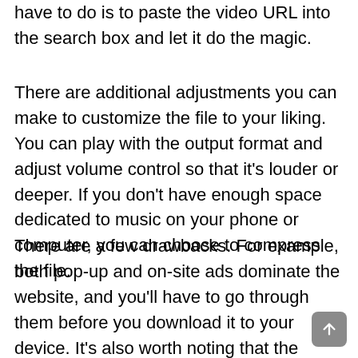have to do is to paste the video URL into the search box and let it do the magic.
There are additional adjustments you can make to customize the file to your liking. You can play with the output format and adjust volume control so that it’s louder or deeper. If you don’t have enough space dedicated to music on your phone or computer, you can choose to compress the file.
There are a few drawbacks. For example, both pop-up and on-site ads dominate the website, and you’ll have to go through them before you download it to your device. It’s also worth noting that the conversion rate depends on the traffic of the website, because of shared hosting.